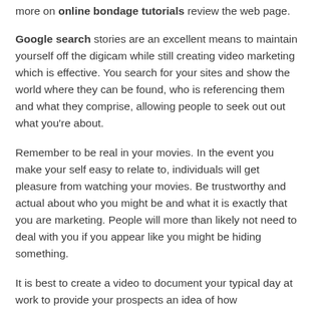more on online bondage tutorials review the web page.
Google search stories are an excellent means to maintain yourself off the digicam while still creating video marketing which is effective. You search for your sites and show the world where they can be found, who is referencing them and what they comprise, allowing people to seek out out what you’re about.
Remember to be real in your movies. In the event you make your self easy to relate to, individuals will get pleasure from watching your movies. Be trustworthy and actual about who you might be and what it is exactly that you are marketing. People will more than likely not need to deal with you if you appear like you might be hiding something.
It is best to create a video to document your typical day at work to provide your prospects an idea of how